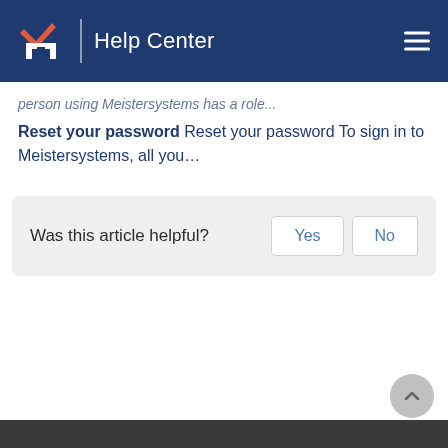Help Center
person using Meistersystems has a role...
Reset your password Reset your password To sign in to Meistersystems, all you…